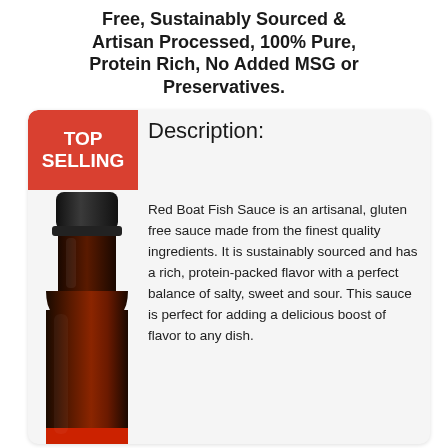Free, Sustainably Sourced & Artisan Processed, 100% Pure, Protein Rich, No Added MSG or Preservatives.
Description:
Red Boat Fish Sauce is an artisanal, gluten free sauce made from the finest quality ingredients. It is sustainably sourced and has a rich, protein-packed flavor with a perfect balance of salty, sweet and sour. This sauce is perfect for adding a delicious boost of flavor to any dish.
[Figure (photo): A bottle of Red Boat Fish Sauce with a black cap and dark reddish-brown liquid, showing partial product label at the bottom.]